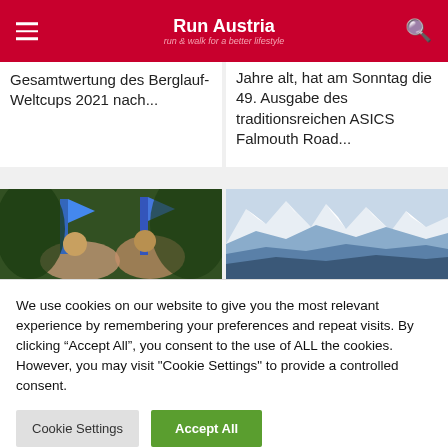Run Austria – run & walk for a better lifestyle
Gesamtwertung des Berglauf-Weltcups 2021 nach...
Jahre alt, hat am Sonntag die 49. Ausgabe des traditionsreichen ASICS Falmouth Road...
[Figure (photo): Runners with blue flags/banners in a forested area]
[Figure (photo): Snow-capped mountain range with layered blue ridges]
We use cookies on our website to give you the most relevant experience by remembering your preferences and repeat visits. By clicking "Accept All", you consent to the use of ALL the cookies. However, you may visit "Cookie Settings" to provide a controlled consent.
Cookie Settings | Accept All